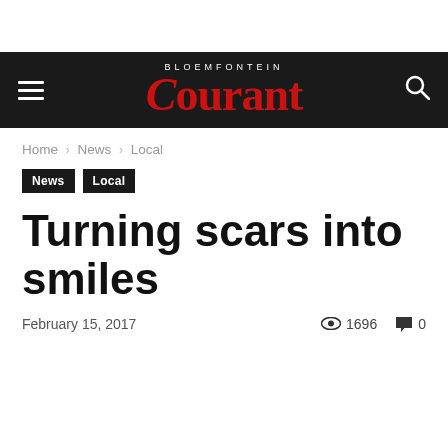Bloemfontein Courant
Home › News › Local
News  Local
Turning scars into smiles
February 15, 2017   1696   0